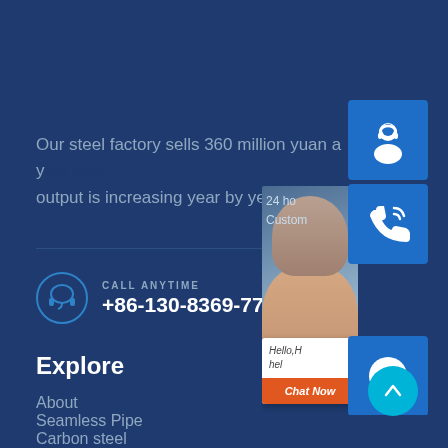Our steel factory sells 360 million yuan a y... output is increasing year by year.
CALL ANYTIME
+86-130-8369-7781
Explore
About
Seamless Pipe
Carbon steel
[Figure (screenshot): Right-side chat widget overlay with customer service icons (headset, phone, Skype), a photo of a smiling woman, '24 hours Customer Service' text, a live chat popup with 'Hello, help' text and orange 'Chat Now' button, and a cyan scroll-to-top button.]